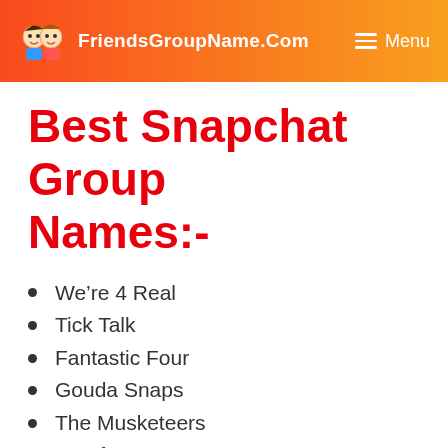FriendsGroupName.Com | Menu
Best Snapchat Group Names:-
We’re 4 Real
Tick Talk
Fantastic Four
Gouda Snaps
The Musketeers
Pearfect Snap
Swag Snaps
Full House
Olive My Friends
Phone Bingo
Wheely Good Snaps